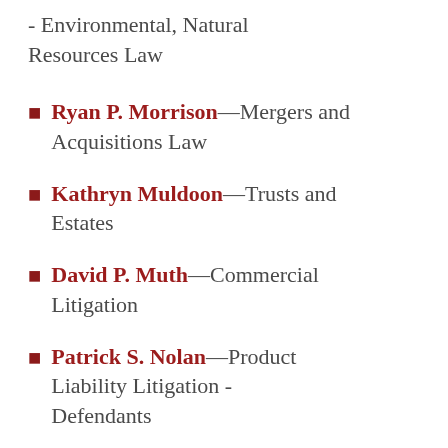- Environmental, Natural Resources Law
Ryan P. Morrison—Mergers and Acquisitions Law
Kathryn Muldoon—Trusts and Estates
David P. Muth—Commercial Litigation
Patrick S. Nolan—Product Liability Litigation - Defendants
Elizabeth G. Nowakowski—Tax Law